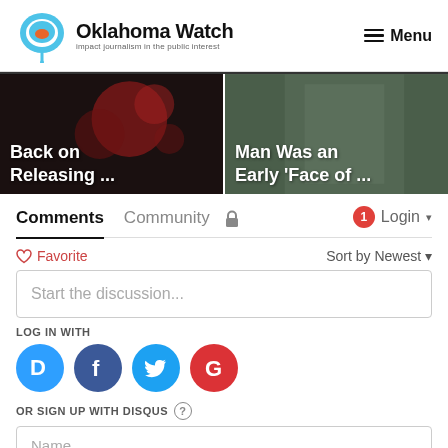[Figure (logo): Oklahoma Watch logo — speech bubble icon with text 'Oklahoma Watch' and tagline 'impact journalism in the public interest']
Menu
[Figure (photo): Two article cards side by side: left card shows dark background with headline 'Back on Releasing ...', right card shows muted green background with headline 'Man Was an Early ‘Face of ...']
Comments
Community
Login
Favorite
Sort by Newest
Start the discussion...
LOG IN WITH
[Figure (infographic): Social login icons: Disqus (blue D), Facebook (dark blue f), Twitter (light blue bird), Google (red G)]
OR SIGN UP WITH DISQUS
Name